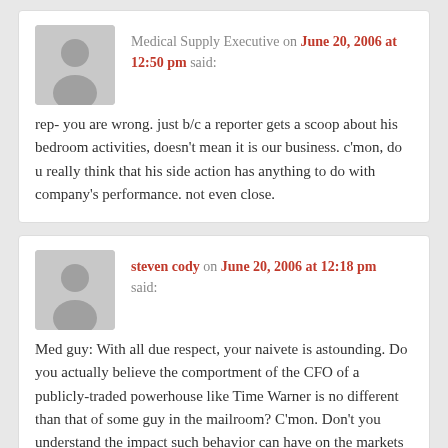Medical Supply Executive on June 20, 2006 at 12:50 pm said: rep- you are wrong. just b/c a reporter gets a scoop about his bedroom activities, doesn't mean it is our business. c'mon, do u really think that his side action has anything to do with company's performance. not even close.
steven cody on June 20, 2006 at 12:18 pm said: Med guy: With all due respect, your naivete is astounding. Do you actually believe the comportment of the CFO of a publicly-traded powerhouse like Time Warner is no different than that of some guy in the mailroom? C'mon. Don't you understand the impact such behavior can have on the markets and the corporation's image and